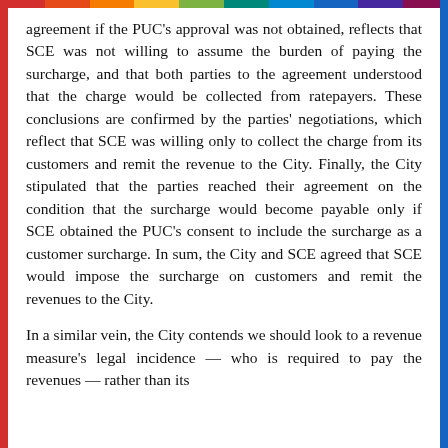agreement if the PUC's approval was not obtained, reflects that SCE was not willing to assume the burden of paying the surcharge, and that both parties to the agreement understood that the charge would be collected from ratepayers. These conclusions are confirmed by the parties' negotiations, which reflect that SCE was willing only to collect the charge from its customers and remit the revenue to the City. Finally, the City stipulated that the parties reached their agreement on the condition that the surcharge would become payable only if SCE obtained the PUC's consent to include the surcharge as a customer surcharge. In sum, the City and SCE agreed that SCE would impose the surcharge on customers and remit the revenues to the City.
In a similar vein, the City contends we should look to a revenue measure's legal incidence — who is required to pay the revenues — rather than its